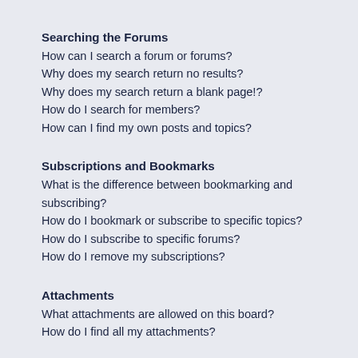Searching the Forums
How can I search a forum or forums?
Why does my search return no results?
Why does my search return a blank page!?
How do I search for members?
How can I find my own posts and topics?
Subscriptions and Bookmarks
What is the difference between bookmarking and subscribing?
How do I bookmark or subscribe to specific topics?
How do I subscribe to specific forums?
How do I remove my subscriptions?
Attachments
What attachments are allowed on this board?
How do I find all my attachments?
phpBB Issues
Who wrote this bulletin board?
Why isn't X feature available?
Who do I contact about abusive and/or legal matters related to